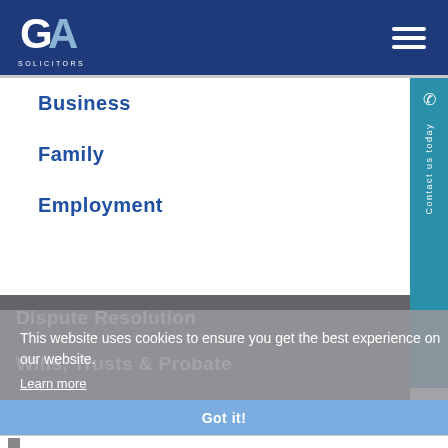GA Solicitors
Business
Family
Employment
Dispute Resolution
Wills, Trusts & Probate
Residential Conveyancing
Personal Injury
This website uses cookies to ensure you get the best experience on our website.
Learn more
Got it!
Contact us today